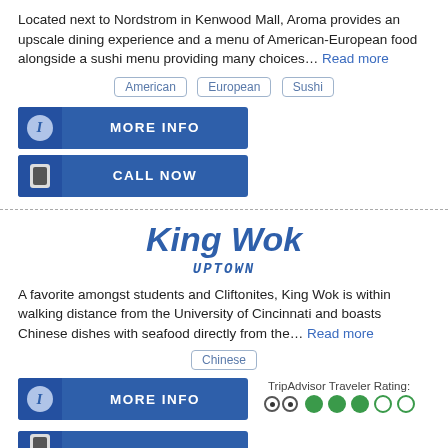Located next to Nordstrom in Kenwood Mall, Aroma provides an upscale dining experience and a menu of American-European food alongside a sushi menu providing many choices... Read more
American  European  Sushi
MORE INFO
CALL NOW
King Wok
UPTOWN
A favorite amongst students and Cliftonites, King Wok is within walking distance from the University of Cincinnati and boasts Chinese dishes with seafood directly from the... Read more
Chinese
MORE INFO
TripAdvisor Traveler Rating: